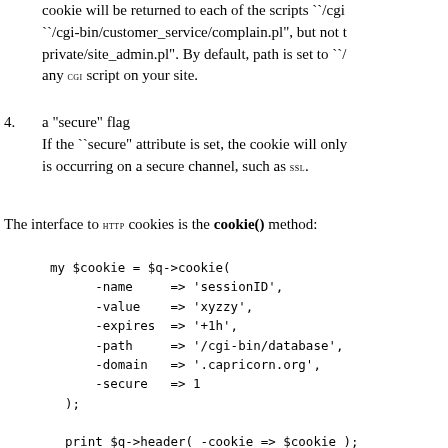cookie will be returned to each of the scripts ``/cgi ``/cgi-bin/customer_service/complain.pl", but not t private/site_admin.pl". By default, path is set to ``/ any CGI script on your site.
4. a "secure" flag
If the ``secure" attribute is set, the cookie will only is occurring on a secure channel, such as SSL.
The interface to HTTP cookies is the cookie() method:
[Figure (screenshot): Perl code block showing cookie() method usage: my $cookie = $q->cookie( -name => 'sessionID', -value => 'xyzzy', -expires => '+1h', -path => '/cgi-bin/database', -domain => '.capricorn.org', -secure => 1 ); print $q->header( -cookie => $cookie );]